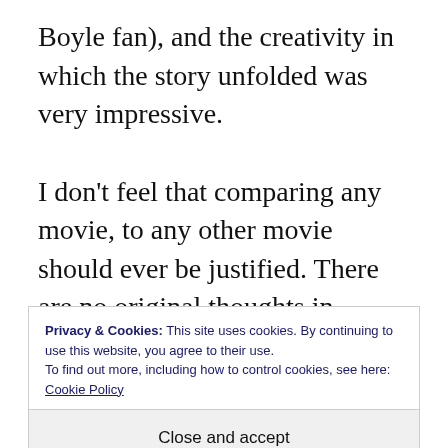Boyle fan), and the creativity in which the story unfolded was very impressive.

I don't feel that comparing any movie, to any other movie should ever be justified. There are no original thoughts in Hollywood. The ideas have been made, but it's how you interpret the story and deliver it to your audience, that is new every time. And I feel that Slumdog was
Privacy & Cookies: This site uses cookies. By continuing to use this website, you agree to their use.
To find out more, including how to control cookies, see here: Cookie Policy
Close and accept
Romina, thanks for sharing, and don't